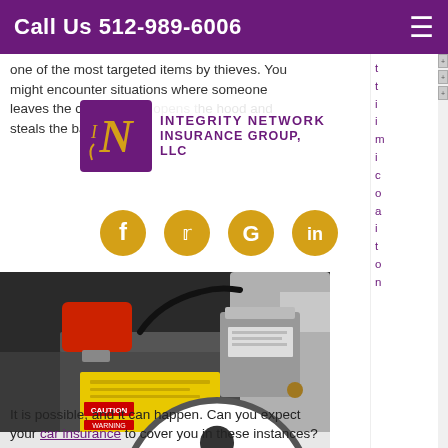Call Us 512-989-6006
one of the most targeted items by thieves. You might encounter situations where someone leaves the car bu... hood and steals the battery.
[Figure (logo): Integrity Network Insurance Group, LLC logo with gold cursive N emblem on purple background]
[Figure (infographic): Four social media icons: Facebook, Twitter, Google+, LinkedIn in gold/yellow circles]
[Figure (photo): Close-up photograph of a car battery in an engine bay, showing a red terminal cover and yellow label]
It is possible, and it can happen. Can you expect your car insurance to cover you in these instances?